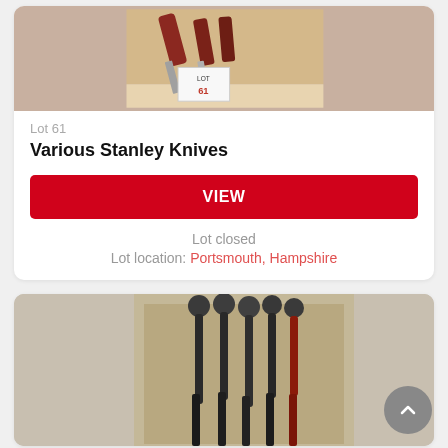[Figure (photo): Photo of various Stanley knives in a cardboard box, partially visible at top of page, with a 'Lot 61' label visible]
Lot 61
Various Stanley Knives
VIEW
Lot closed
Lot location: Portsmouth, Hampshire
[Figure (photo): Photo of various ball-peen hammers with black handles in a cardboard box, partially visible at bottom of page]